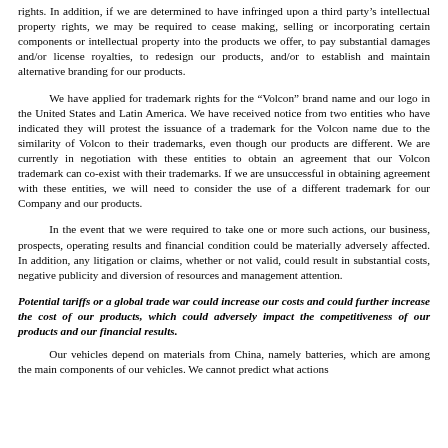rights. In addition, if we are determined to have infringed upon a third party's intellectual property rights, we may be required to cease making, selling or incorporating certain components or intellectual property into the products we offer, to pay substantial damages and/or license royalties, to redesign our products, and/or to establish and maintain alternative branding for our products.
We have applied for trademark rights for the “Volcon” brand name and our logo in the United States and Latin America. We have received notice from two entities who have indicated they will protest the issuance of a trademark for the Volcon name due to the similarity of Volcon to their trademarks, even though our products are different. We are currently in negotiation with these entities to obtain an agreement that our Volcon trademark can co-exist with their trademarks. If we are unsuccessful in obtaining agreement with these entities, we will need to consider the use of a different trademark for our Company and our products.
In the event that we were required to take one or more such actions, our business, prospects, operating results and financial condition could be materially adversely affected. In addition, any litigation or claims, whether or not valid, could result in substantial costs, negative publicity and diversion of resources and management attention.
Potential tariffs or a global trade war could increase our costs and could further increase the cost of our products, which could adversely impact the competitiveness of our products and our financial results.
Our vehicles depend on materials from China, namely batteries, which are among the main components of our vehicles. We cannot predict what actions